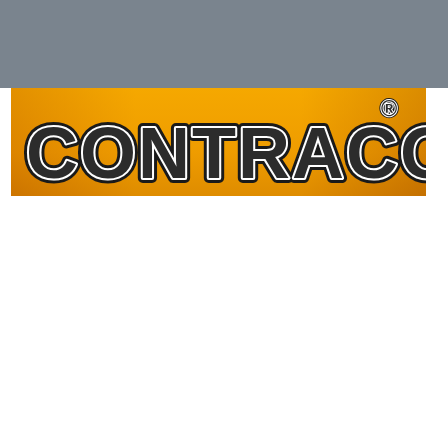[Figure (logo): CONTRACOR brand logo on orange gradient background with dark stylized lettering and registered trademark symbol]